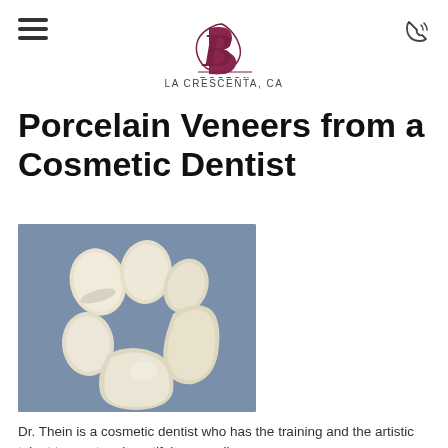[Figure (logo): Boston Dental Care logo with stylized B and text, centered in header]
LA CRESCENTA, CA
Porcelain Veneers from a Cosmetic Dentist
[Figure (photo): Six porcelain dental veneers arranged on a blue-grey background]
Dr. Thein is a cosmetic dentist who has the training and the artistic talent to create a beautiful new smile